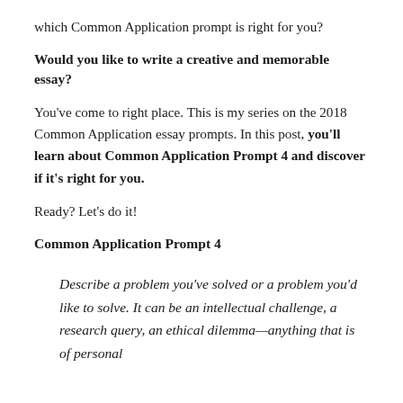which Common Application prompt is right for you?
Would you like to write a creative and memorable essay?
You've come to right place. This is my series on the 2018 Common Application essay prompts. In this post, you'll learn about Common Application Prompt 4 and discover if it's right for you.
Ready? Let's do it!
Common Application Prompt 4
Describe a problem you've solved or a problem you'd like to solve. It can be an intellectual challenge, a research query, an ethical dilemma—anything that is of personal